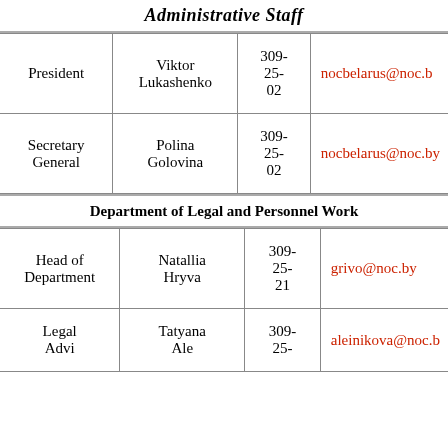Administrative Staff
| Role | Name | Phone | Email |
| --- | --- | --- | --- |
| President | Viktor Lukashenko | 309-25-02 | nocbelarus@noc.b |
| Secretary General | Polina Golovina | 309-25-02 | nocbelarus@noc.by |
Department of Legal and Personnel Work
| Role | Name | Phone | Email |
| --- | --- | --- | --- |
| Head of Department | Natallia Hryva | 309-25-21 | grivo@noc.by |
| Legal Advi... | Tatyana Ale... | 309-25- | aleinikova@noc.b |